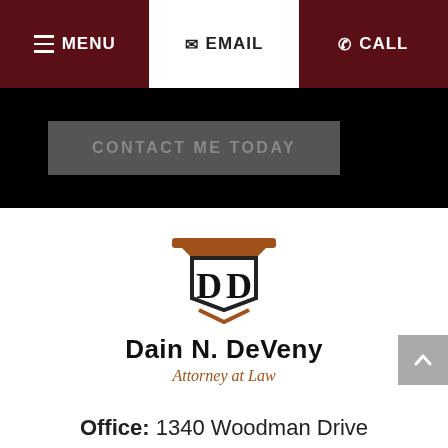MENU  EMAIL  CALL
CONTACT ME TODAY
[Figure (logo): Dain N. DeVeny Attorney at Law logo with stylized DD monogram and column capital in brown/black]
Dain N. DeVeny
Attorney at Law
Office: 1340 Woodman Drive
Dayton, OH 45432